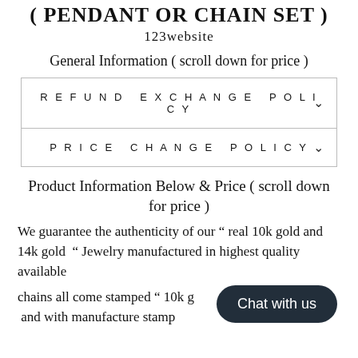( PENDANT OR CHAIN SET )
123website
General Information ( scroll down for price )
| REFUND EXCHANGE POLICY | ∨ |
| PRICE CHANGE POLICY | ∨ |
Product Information Below & Price ( scroll down for price )
We guarantee the authenticity of our “ real 10k gold and 14k gold “ Jewelry manufactured in highest quality available
chains all come stamped “ 10k g...d and with manufacture stamp